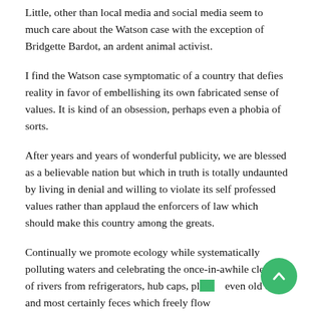Little, other than local media and social media seem to much care about the Watson case with the exception of Bridgette Bardot, an ardent animal activist.
I find the Watson case symptomatic of a country that defies reality in favor of embellishing its own fabricated sense of values. It is kind of an obsession, perhaps even a phobia of sorts.
After years and years of wonderful publicity, we are blessed as a believable nation but which in truth is totally undaunted by living in denial and willing to violate its self professed values rather than applaud the enforcers of law which should make this country among the greats.
Continually we promote ecology while systematically polluting waters and celebrating the once-in-awhile cleaning of rivers from refrigerators, hub caps, plastic, even old cars and most certainly feces which freely flow